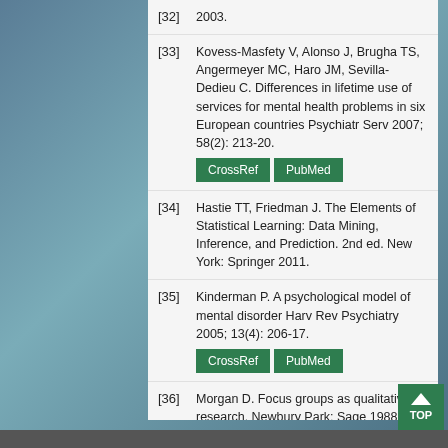[32] 2003.
[33] Kovess-Masfety V, Alonso J, Brugha TS, Angermeyer MC, Haro JM, Sevilla-Dedieu C. Differences in lifetime use of services for mental health problems in six European countries Psychiatr Serv 2007; 58(2): 213-20.
[34] Hastie TT, Friedman J. The Elements of Statistical Learning: Data Mining, Inference, and Prediction. 2nd ed. New York: Springer 2011.
[35] Kinderman P. A psychological model of mental disorder Harv Rev Psychiatry 2005; 13(4): 206-17.
[36] Morgan D. Focus groups as qualitative research. Newbury Park: Sage 1988.